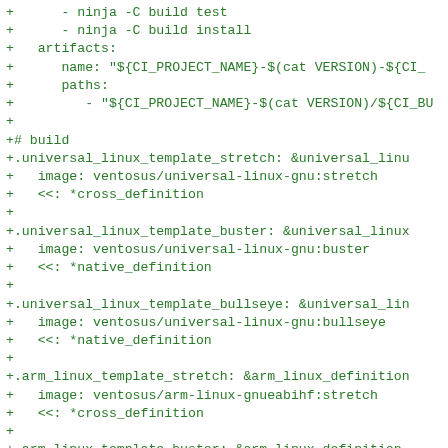+      - ninja -C build test
+      - ninja -C build install
+   artifacts:
+      name: "${CI_PROJECT_NAME}-$(cat VERSION)-${CI_
+      paths:
+         - "${CI_PROJECT_NAME}-$(cat VERSION)/${CI_BU
+
+# build
+.universal_linux_template_stretch: &universal_linu
+   image: ventosus/universal-linux-gnu:stretch
+   <<: *cross_definition
+
+.universal_linux_template_buster: &universal_linux
+   image: ventosus/universal-linux-gnu:buster
+   <<: *native_definition
+
+.universal_linux_template_bullseye: &universal_lin
+   image: ventosus/universal-linux-gnu:bullseye
+   <<: *native_definition
+
+.arm_linux_template_stretch: &arm_linux_definition
+   image: ventosus/arm-linux-gnueabihf:stretch
+   <<: *cross_definition
+
+.arm_linux_template_buster: &arm_linux_definition_
+   image: ventosus/arm-linux-gnueabihf:buster
+   <<: *cross_definition
+
+.arm_linux_template_bullseye: &arm_linux_definitio
+   image: ventosus/arm-linux-gnueabihf:bullseye